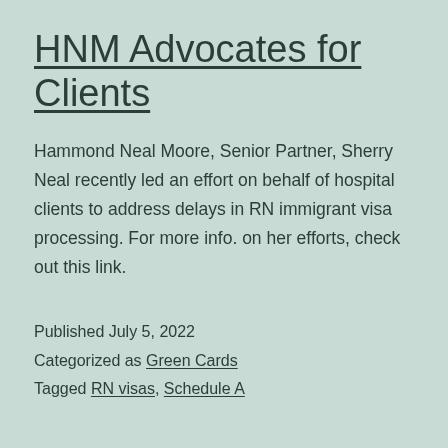HNM Advocates for Clients
Hammond Neal Moore, Senior Partner, Sherry Neal recently led an effort on behalf of hospital clients to address delays in RN immigrant visa processing. For more info. on her efforts, check out this link.
Published July 5, 2022
Categorized as Green Cards
Tagged RN visas, Schedule A